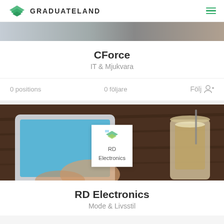GRADUATELAND
[Figure (screenshot): Top portion of a company listing card for CForce showing a blurred photo banner]
CForce
IT & Mjukvara
0 positions   0 följare   Följ
[Figure (photo): Photo of hands using a tablet on a wooden table with a latte coffee glass, with RD Electronics logo badge overlaid in center]
RD Electronics
Mode & Livsstil